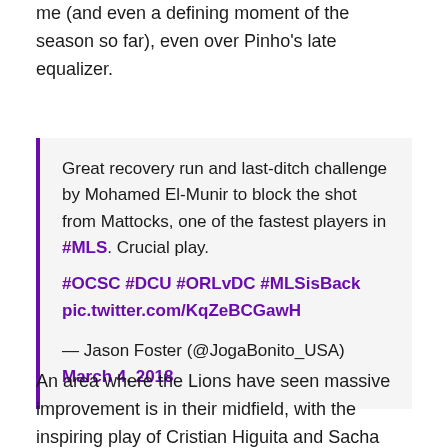me (and even a defining moment of the season so far), even over Pinho's late equalizer.
Great recovery run and last-ditch challenge by Mohamed El-Munir to block the shot from Mattocks, one of the fastest players in #MLS. Crucial play. #OCSC #DCU #ORLvDC #MLSisBack pic.twitter.com/KqZeBCGawH

— Jason Foster (@JogaBonito_USA) March 4, 2018
An area where the Lions have seen massive improvement is in their midfield, with the inspiring play of Cristian Higuita and Sacha Kljestan showing that the Lions, when in form and striking on target, are a